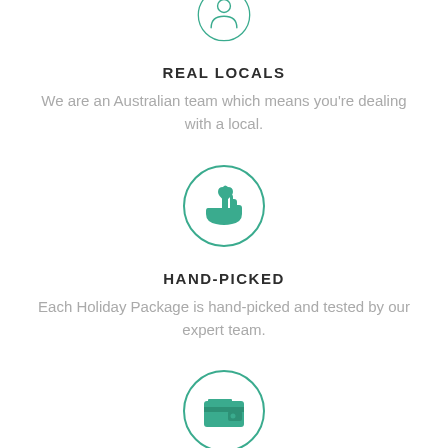[Figure (illustration): Teal circle icon with a hand holding a heart symbol (partially cropped at top)]
REAL LOCALS
We are an Australian team which means you're dealing with a local.
[Figure (illustration): Teal circle icon with a hand holding a heart symbol (hand-picked icon)]
HAND-PICKED
Each Holiday Package is hand-picked and tested by our expert team.
[Figure (illustration): Teal circle icon with a wallet symbol (partially cropped at bottom)]